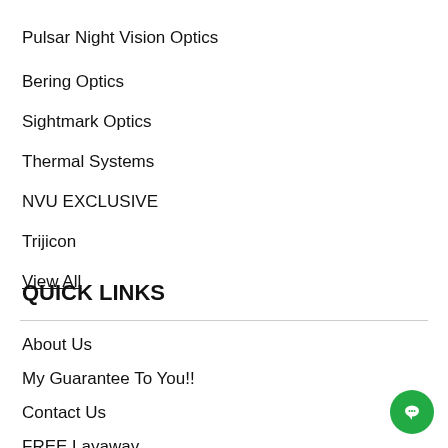Pulsar Night Vision Optics
Bering Optics
Sightmark Optics
Thermal Systems
NVU EXCLUSIVE
Trijicon
View All
QUICK LINKS
About Us
My Guarantee To You!!
Contact Us
FREE Layaway